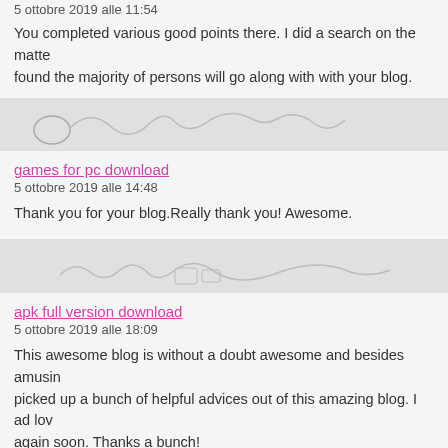5 ottobre 2019 alle 11:54
You completed various good points there. I did a search on the matter and found the majority of persons will go along with with your blog.
games for pc download
5 ottobre 2019 alle 14:48
Thank you for your blog.Really thank you! Awesome.
apk full version download
5 ottobre 2019 alle 18:09
This awesome blog is without a doubt awesome and besides amusing. I have picked up a bunch of helpful advices out of this amazing blog. I ad love to come back again soon. Thanks a bunch!
apk full version download
5 ottobre 2019 alle 21:26
Lovely blog! I am loving it!! Will be back later to read some more. I am taking your feeds also